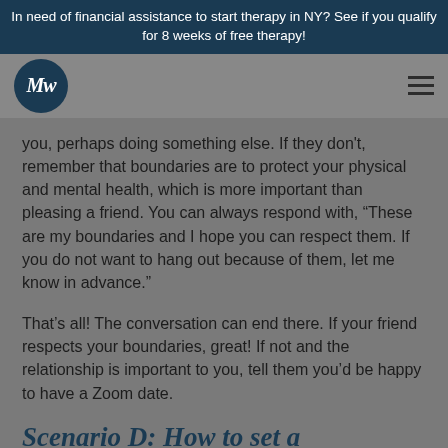In need of financial assistance to start therapy in NY? See if you qualify for 8 weeks of free therapy!
you, perhaps doing something else. If they don't, remember that boundaries are to protect your physical and mental health, which is more important than pleasing a friend. You can always respond with, “These are my boundaries and I hope you can respect them. If you do not want to hang out because of them, let me know in advance.”
That’s all! The conversation can end there. If your friend respects your boundaries, great! If not and the relationship is important to you, tell them you’d be happy to have a Zoom date.
Scenario D: How to set a